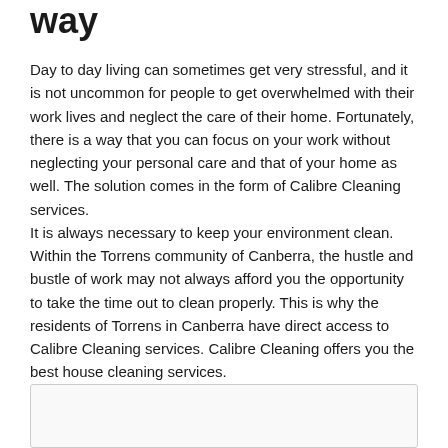way
Day to day living can sometimes get very stressful, and it is not uncommon for people to get overwhelmed with their work lives and neglect the care of their home. Fortunately, there is a way that you can focus on your work without neglecting your personal care and that of your home as well. The solution comes in the form of Calibre Cleaning services.
It is always necessary to keep your environment clean. Within the Torrens community of Canberra, the hustle and bustle of work may not always afford you the opportunity to take the time out to clean properly. This is why the residents of Torrens in Canberra have direct access to Calibre Cleaning services. Calibre Cleaning offers you the best house cleaning services.
[Figure (other): Empty or partially visible box/image placeholder at bottom of page]